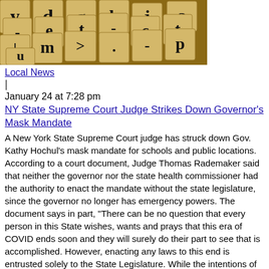[Figure (photo): Scrabble letter tiles scattered on a surface, showing various letters]
Local News
|
January 24 at 7:28 pm
NY State Supreme Court Judge Strikes Down Governor's Mask Mandate
A New York State Supreme Court judge has struck down Gov. Kathy Hochul's mask mandate for schools and public locations. According to a court document, Judge Thomas Rademaker said that neither the governor nor the state health commissioner had the authority to enact the mandate without the state legislature, since the governor no longer has emergency powers. The document says in part, "There can be no question that every person in this State wishes, wants and prays that this era of COVID ends soon and they will surely do their part to see that is accomplished. However, enacting any laws to this end is entrusted solely to the State Legislature. While the intentions of Commissioner Bassett and Governor Hochul appear to be well aimed squarely at doing what they believe is right to pro...
Read More
[Figure (photo): Partial image of a book or document at bottom of page]